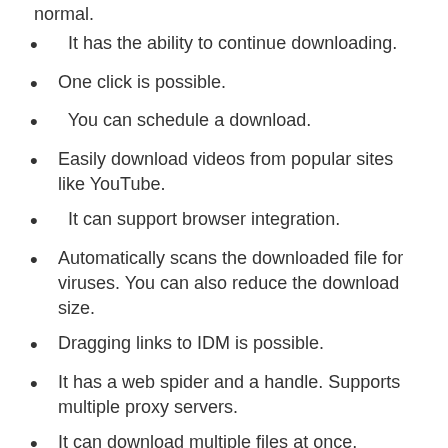normal.
It has the ability to continue downloading.
One click is possible.
You can schedule a download.
Easily download videos from popular sites like YouTube.
It can support browser integration.
Automatically scans the downloaded file for viruses. You can also reduce the download size.
Dragging links to IDM is possible.
It has a web spider and a handle. Supports multiple proxy servers.
It can download multiple files at once. Supports multiple languages.
Increases download speed up to 5 times with powerful file sharing technology.